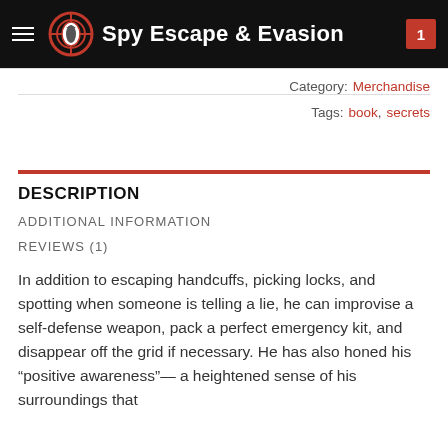Spy Escape & Evasion
Category: Merchandise
Tags: book, secrets
DESCRIPTION
ADDITIONAL INFORMATION
REVIEWS (1)
In addition to escaping handcuffs, picking locks, and spotting when someone is telling a lie, he can improvise a self-defense weapon, pack a perfect emergency kit, and disappear off the grid if necessary. He has also honed his “positive awareness”— a heightened sense of his surroundings that